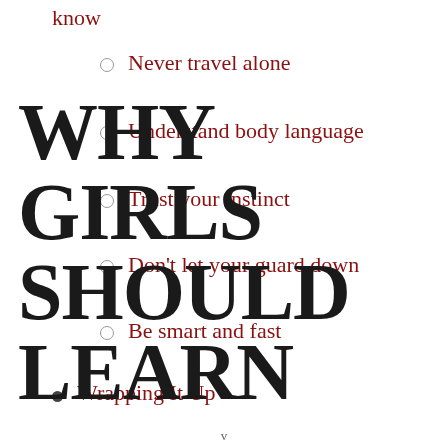know
Never travel alone
Understand body language
Trust your instinct
Don't let your guard down
Be smart and fast
Wrapping It Up
WHY GIRLS SHOULD LEARN
v